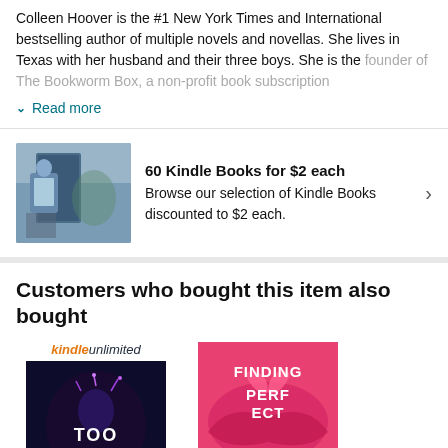Colleen Hoover is the #1 New York Times and International bestselling author of multiple novels and novellas. She lives in Texas with her husband and their three boys. She is the founder of The Bookworm Box, a non-profit book subscription
Read more
60 Kindle Books for $2 each
Browse our selection of Kindle Books discounted to $2 each.
Customers who bought this item also bought
[Figure (photo): Book cover: Too Late with Kindle Unlimited badge]
[Figure (photo): Book cover: Finding Perfect with pink/red design]